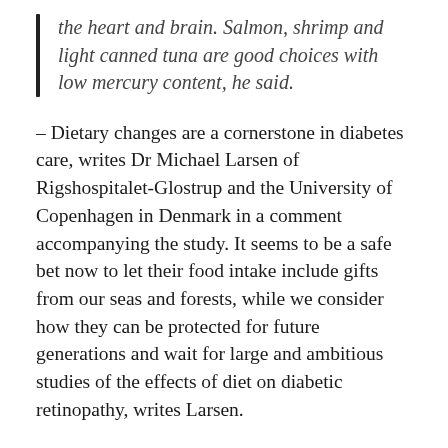the heart and brain. Salmon, shrimp and light canned tuna are good choices with low mercury content, he said.
– Dietary changes are a cornerstone in diabetes care, writes Dr Michael Larsen of Rigshospitalet-Glostrup and the University of Copenhagen in Denmark in a comment accompanying the study. It seems to be a safe bet now to let their food intake include gifts from our seas and forests, while we consider how they can be protected for future generations and wait for large and ambitious studies of the effects of diet on diabetic retinopathy, writes Larsen.